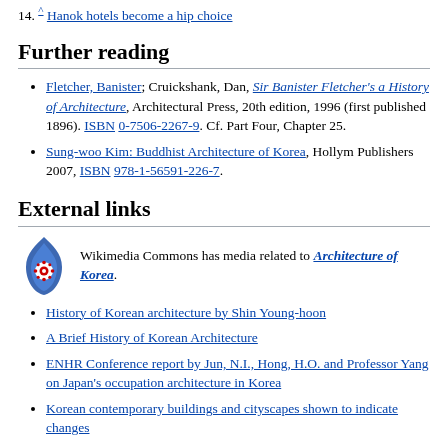14. ^ Hanok hotels become a hip choice
Further reading
Fletcher, Banister; Cruickshank, Dan, Sir Banister Fletcher's a History of Architecture, Architectural Press, 20th edition, 1996 (first published 1896). ISBN 0-7506-2267-9. Cf. Part Four, Chapter 25.
Sung-woo Kim: Buddhist Architecture of Korea, Hollym Publishers 2007, ISBN 978-1-56591-226-7.
External links
[Figure (logo): Wikimedia Commons logo — blue flame with red/white rosette]
Wikimedia Commons has media related to Architecture of Korea.
History of Korean architecture by Shin Young-hoon
A Brief History of Korean Architecture
ENHR Conference report by Jun, N.I., Hong, H.O. and Professor Yang on Japan's occupation architecture in Korea
Korean contemporary buildings and cityscapes shown to indicate changes
Korea Society Podcast: New Trends in Korean Architecture